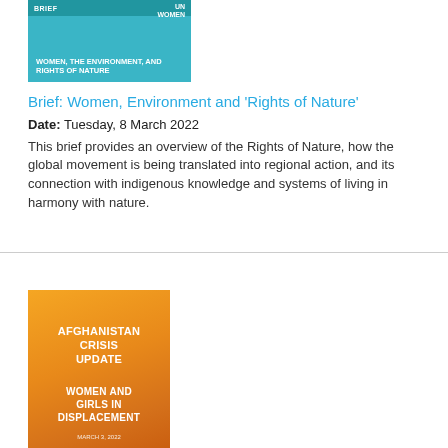[Figure (illustration): Thumbnail cover image for the brief: Women, The Environment, and Rights of Nature. Teal/cyan background with white title text and UN Women logo.]
Brief: Women, Environment and 'Rights of Nature'
Date: Tuesday, 8 March 2022
This brief provides an overview of the Rights of Nature, how the global movement is being translated into regional action, and its connection with indigenous knowledge and systems of living in harmony with nature.
[Figure (illustration): Book cover for Afghanistan Crisis Update: Women and Girls in Displacement. Orange/yellow background with white title text and silhouettes of people.]
Afghanistan crisis update: Women and girls in displacement
Date: Thursday, 3 March 2022
The fall of Afghanistan's government to Taliban rule has further limited the ability of women and girls to exercise their rights, forcing many to flee their homes, seeking safety either elsewhere within the